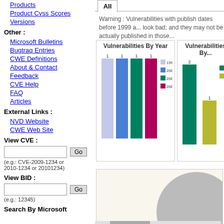Products
Product Cvss Scores
Versions
Other :
Microsoft Bulletins
Bugtraq Entries
CWE Definitions
About & Contact
Feedback
CVE Help
FAQ
Articles
External Links :
NVD Website
CWE Web Site
View CVE :
(e.g.: CVE-2009-1234 or 2010-1234 or 20101234)
View BID :
(e.g.: 12345)
Search By Microsoft
Warning : Vulnerabilities with publish dates before 1999 a... look bad; and they may not be actually published in those...
[Figure (bar-chart): Vulnerabilities By Year]
[Figure (bar-chart): Vulnerabilities By...]